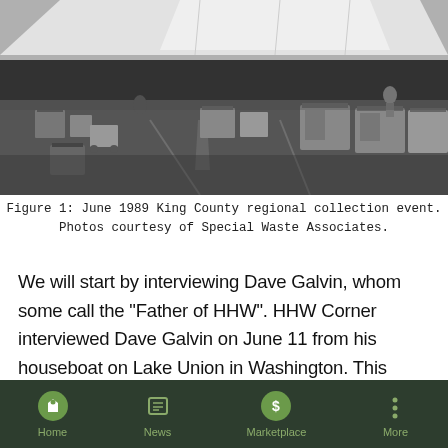[Figure (photo): Black and white photograph of the June 1989 King County regional household hazardous waste collection event. Shows an outdoor parking lot with containers, carts, bins, and a large white tent canopy in the background. Several people and vehicles are visible.]
Figure 1: June 1989 King County regional collection event. Photos courtesy of Special Waste Associates.
We will start by interviewing Dave Galvin, whom some call the "Father of HHW". HHW Corner interviewed Dave Galvin on June 11 from his houseboat on Lake Union in Washington. This small floating community is where many scenes from Sleepless in Seattle (1993), starring Meg Ryan and Tom Hanks, were filmed. Although this small group of Lake Union homes is in the shadow